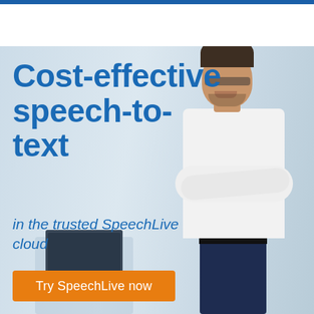[Figure (photo): Marketing banner showing a confident businessman in white shirt with arms crossed standing in an office background]
Cost-effective speech-to-text
in the trusted SpeechLive cloud
Try SpeechLive now